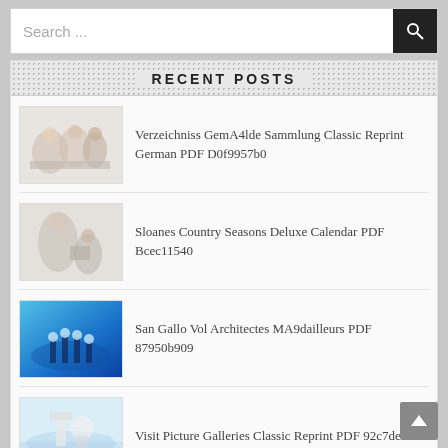Search ...
RECENT POSTS
Verzeichniss GemA4lde Sammlung Classic Reprint German PDF D0f9957b0
Sloanes Country Seasons Deluxe Calendar PDF Bcec11540
San Gallo Vol Architectes MA9dailleurs PDF 87950b909
Visit Picture Galleries Classic Reprint PDF 92c7de8b9
Catalogue Pictures Property Cartwright Deceased PDF F44268f6a